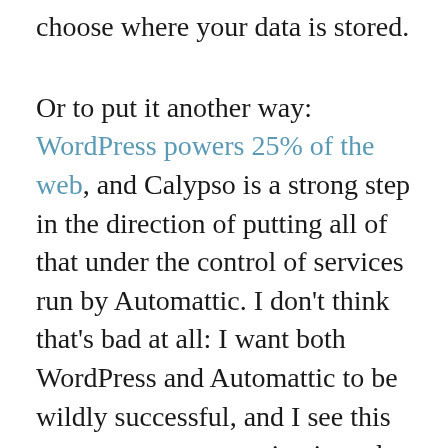choose where your data is stored.
Or to put it another way: WordPress powers 25% of the web, and Calypso is a strong step in the direction of putting all of that under the control of services run by Automattic. I don't think that's bad at all: I want both WordPress and Automattic to be wildly successful, and I see this as a smart way to maintain and grow their position.
My expectation: we'll start to see more examples of this data-interface separation, where the logic and data will sit wherever you want, and the